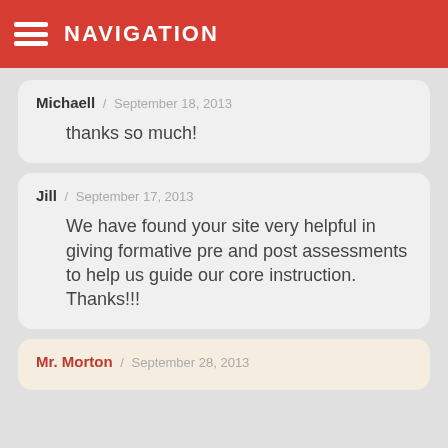these days...
NAVIGATION
Michaell / September 18, 2013
thanks so much!
Jill / September 17, 2013
We have found your site very helpful in giving formative pre and post assessments to help us guide our core instruction. Thanks!!!
Mr. Morton / September 28, 2013